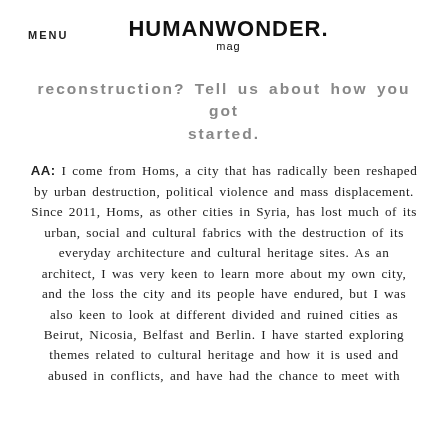MENU  HUMANWONDER. mag
reconstruction? Tell us about how you got started.
AA: I come from Homs, a city that has radically been reshaped by urban destruction, political violence and mass displacement. Since 2011, Homs, as other cities in Syria, has lost much of its urban, social and cultural fabrics with the destruction of its everyday architecture and cultural heritage sites. As an architect, I was very keen to learn more about my own city, and the loss the city and its people have endured, but I was also keen to look at different divided and ruined cities as Beirut, Nicosia, Belfast and Berlin. I have started exploring themes related to cultural heritage and how it is used and abused in conflicts, and have had the chance to meet with